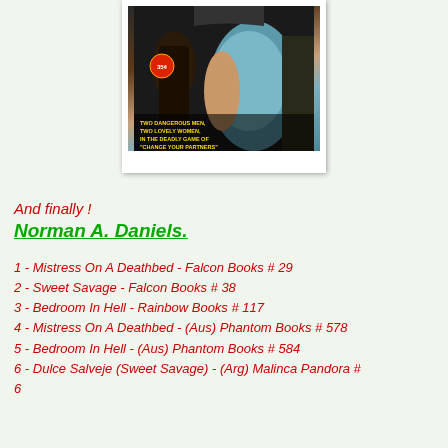[Figure (photo): Book cover image showing two women and dramatic scene with text 'Two dangerous men, two lovely women, in the deadly game of Change Your Partners'. Price badge showing 35¢. Polaroid-style white frame.]
And finally !
Norman A. Daniels.
1 - Mistress On A Deathbed - Falcon Books # 29
2 - Sweet Savage - Falcon Books # 38
3 - Bedroom In Hell - Rainbow Books # 117
4 - Mistress On A Deathbed - (Aus) Phantom Books # 578
5 - Bedroom In Hell - (Aus) Phantom Books # 584
6 - Dulce Salveje (Sweet Savage) - (Arg) Malinca Pandora # 6